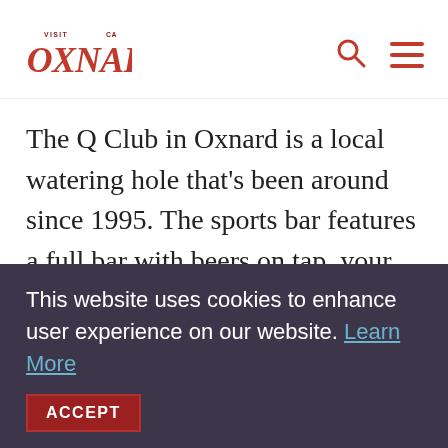Visit Oxnard
The Q Club in Oxnard is a local watering hole that's been around since 1995. The sports bar features a full bar with beers on tap, your favorite local sports including UFC, PPV, all MMA and Boxing, and a breakfast and lunch menu. Love beer pong, darts, and table tennis? They've got
This website uses cookies to enhance user experience on our website. Learn More
ACCEPT